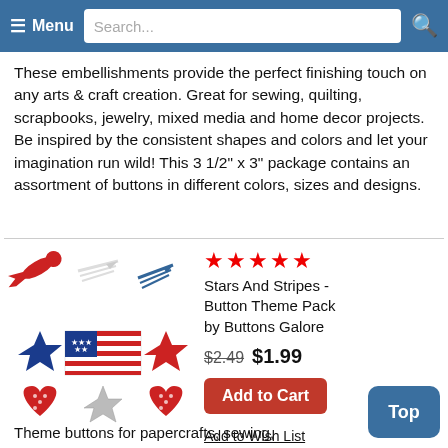≡ Menu  Search...
These embellishments provide the perfect finishing touch on any arts & craft creation. Great for sewing, quilting, scrapbooks, jewelry, mixed media and home decor projects. Be inspired by the consistent shapes and colors and let your imagination run wild! This 3 1/2" x 3" package contains an assortment of buttons in different colors, sizes and designs.
[Figure (photo): Product image showing Stars and Stripes themed buttons: shooting stars in red, white and blue, American flags, blue and red stars, red heart buttons, and a silver star.]
Stars And Stripes - Button Theme Pack by Buttons Galore
★★★★★
$2.49  $1.99
Add to Cart
Add to Wish List
Theme buttons for papercrafts, sewing, quilting, DIY projects! This contains an assortment of buttons - American flags, shooting stars, and more Fourth of July